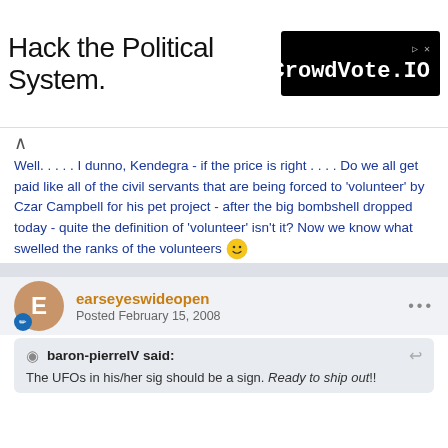[Figure (other): Advertisement banner: 'Hack the Political System.' text on left, CrowdVote.IO logo on black background on right]
Well. . . . . I dunno, Kendegra - if the price is right . . . . Do we all get paid like all of the civil servants that are being forced to 'volunteer' by Czar Campbell for his pet project - after the big bombshell dropped today - quite the definition of 'volunteer' isn't it? Now we know what swelled the ranks of the volunteers 😊

How about you?
earseyeswideopen
Posted February 15, 2008
baron-pierreIV said:
The UFOs in his/her sig should be a sign. Ready to ship out!!